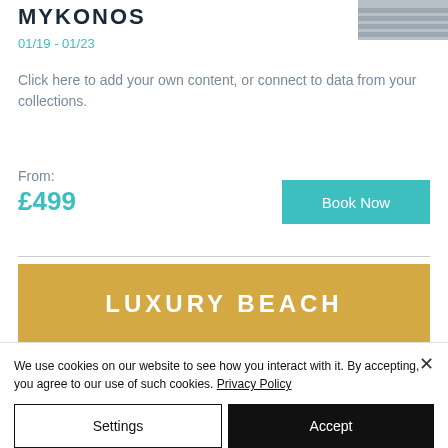MYKONOS
[Figure (photo): Partial view of a modern building with horizontal lines, gray tones]
01/19 - 01/23
Click here to add your own content, or connect to data from your collections.
From:
£499
Book Now
[Figure (illustration): Gold/amber colored banner with text LUXURY BEACH]
LUXURY BEACH
We use cookies on our website to see how you interact with it. By accepting, you agree to our use of such cookies. Privacy Policy
Settings
Accept